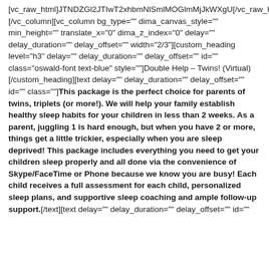[vc_raw_html]JTNDZGl2JTIwT2xhbmNlSmlMOGlmMjJkWXgU[/vc_raw_html][/vc_column][vc_column bg_type="" dima_canvas_style="" min_height="" translate_x="0" dima_z_index="0" delay="" delay_duration="" delay_offset="" width="2/3"][custom_heading level="h3" delay="" delay_duration="" delay_offset="" id="" class="oswald-font text-blue" style=""]Double Help – Twins! (Virtual)[/custom_heading][text delay="" delay_duration="" delay_offset="" id="" class=""]This package is the perfect choice for parents of twins, triplets (or more!). We will help your family establish healthy sleep habits for your children in less than 2 weeks. As a parent, juggling 1 is hard enough, but when you have 2 or more, things get a little trickier, especially when you are sleep deprived! This package includes everything you need to get your children sleep properly and all done via the convenience of Skype/FaceTime or Phone because we know you are busy! Each child receives a full assessment for each child, personalized sleep plans, and supportive sleep coaching and ample follow-up support.[/text][text delay="" delay_duration="" delay_offset="" id=""